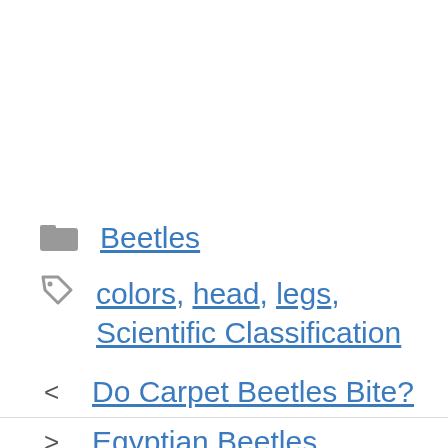Beetles
colors, head, legs, Scientific Classification
Do Carpet Beetles Bite?
Egyptian Beetles